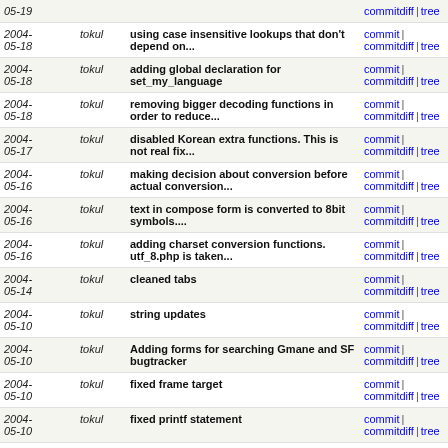| Date | Author | Message | Links |
| --- | --- | --- | --- |
| 2004-05-19 |  |  | commitdiff | tree |
| 2004-05-18 | tokul | using case insensitive lookups that don't depend on... | commit | commitdiff | tree |
| 2004-05-18 | tokul | adding global declaration for set_my_language | commit | commitdiff | tree |
| 2004-05-18 | tokul | removing bigger decoding functions in order to reduce... | commit | commitdiff | tree |
| 2004-05-17 | tokul | disabled Korean extra functions. This is not real fix... | commit | commitdiff | tree |
| 2004-05-16 | tokul | making decision about conversion before actual conversion... | commit | commitdiff | tree |
| 2004-05-16 | tokul | text in compose form is converted to 8bit symbols.... | commit | commitdiff | tree |
| 2004-05-16 | tokul | adding charset conversion functions. utf_8.php is taken... | commit | commitdiff | tree |
| 2004-05-14 | tokul | cleaned tabs | commit | commitdiff | tree |
| 2004-05-10 | tokul | string updates | commit | commitdiff | tree |
| 2004-05-10 | tokul | Adding forms for searching Gmane and SF bugtracker | commit | commitdiff | tree |
| 2004-05-10 | tokul | fixed frame target | commit | commitdiff | tree |
| 2004-05-10 | tokul | fixed printf statement | commit | commitdiff | tree |
| 2004-05-10 | tokul | fixed untranslated string | commit | commitdiff | tree |